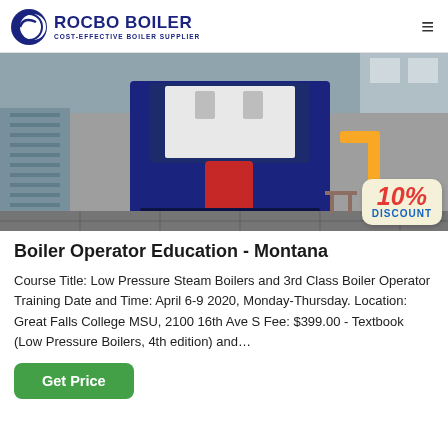ROCBO BOILER - COST-EFFECTIVE BOILER SUPPLIER
[Figure (photo): Industrial boiler equipment photographed outdoors in an industrial yard, with a 10% DISCOUNT badge overlaid in the bottom right corner.]
Boiler Operator Education - Montana
Course Title: Low Pressure Steam Boilers and 3rd Class Boiler Operator Training Date and Time: April 6-9 2020, Monday-Thursday. Location: Great Falls College MSU, 2100 16th Ave S Fee: $399.00 - Textbook (Low Pressure Boilers, 4th edition) and…
Get Price